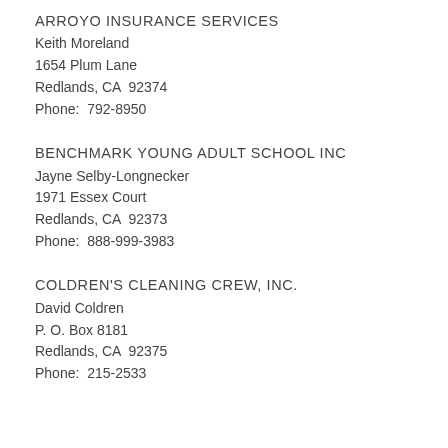ARROYO INSURANCE SERVICES
Keith Moreland
1654 Plum Lane
Redlands, CA  92374
Phone:  792-8950
BENCHMARK YOUNG ADULT SCHOOL INC
Jayne Selby-Longnecker
1971 Essex Court
Redlands, CA  92373
Phone:  888-999-3983
COLDREN'S CLEANING CREW, INC.
David Coldren
P. O. Box 8181
Redlands, CA  92375
Phone:  215-2533